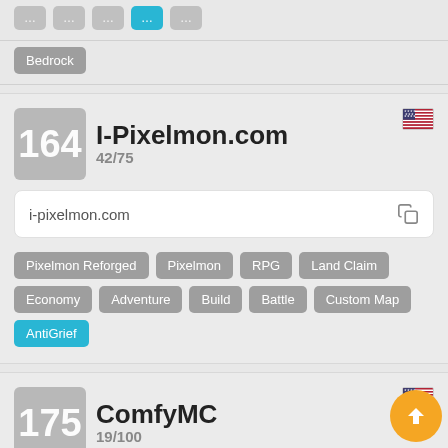Bedrock
164
I-Pixelmon.com
42/75
i-pixelmon.com
Pixelmon Reforged
Pixelmon
RPG
Land Claim
Economy
Adventure
Build
Battle
Custom Map
AntiGrief
175
ComfyMC
19/100
play.comfymc.net